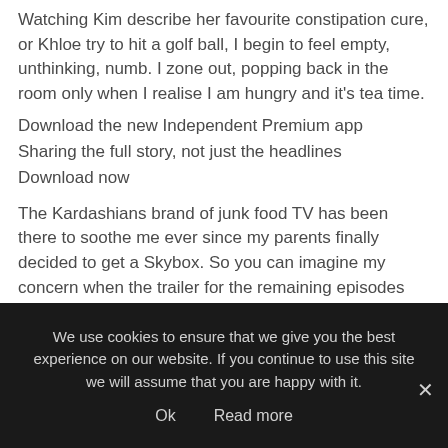Watching Kim describe her favourite constipation cure, or Khloe try to hit a golf ball, I begin to feel empty, unthinking, numb. I zone out, popping back in the room only when I realise I am hungry and it's tea time.
Download the new Independent Premium app
Sharing the full story, not just the headlines
Download now
The Kardashians brand of junk food TV has been there to soothe me ever since my parents finally decided to get a Skybox. So you can imagine my concern when the trailer for the remaining episodes
We use cookies to ensure that we give you the best experience on our website. If you continue to use this site we will assume that you are happy with it.
Ok     Read more